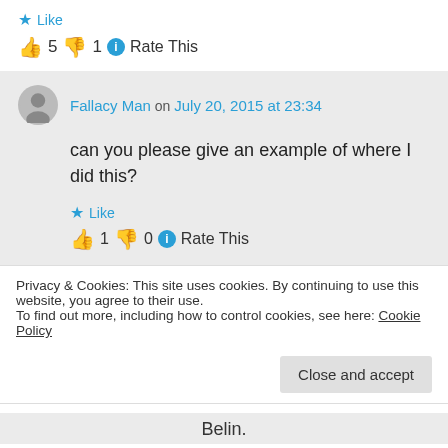★ Like
👍 5 👎 1 ℹ Rate This
Fallacy Man on July 20, 2015 at 23:34
can you please give an example of where I did this?
★ Like
👍 1 👎 0 ℹ Rate This
Privacy & Cookies: This site uses cookies. By continuing to use this website, you agree to their use. To find out more, including how to control cookies, see here: Cookie Policy
Close and accept
Belin.